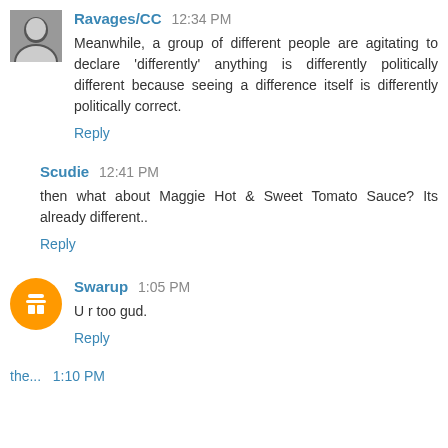Ravages/CC  12:34 PM
Meanwhile, a group of different people are agitating to declare 'differently' anything is differently politically different because seeing a difference itself is differently politically correct.
Reply
Scudie  12:41 PM
then what about Maggie Hot & Sweet Tomato Sauce? Its already different..
Reply
Swarup  1:05 PM
U r too gud.
Reply